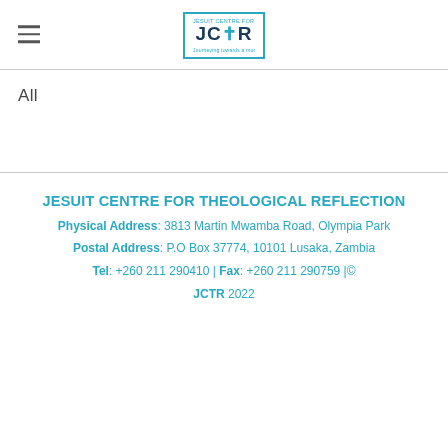[Figure (logo): JCTR logo — blue bordered box with cross symbol and text 'JCR']
All
JESUIT CENTRE FOR THEOLOGICAL REFLECTION
Physical Address: 3813 Martin Mwamba Road, Olympia Park
Postal Address: P.O Box 37774, 10101 Lusaka, Zambia
Tel: +260 211 290410 | Fax: +260 211 290759 | © JCTR 2022